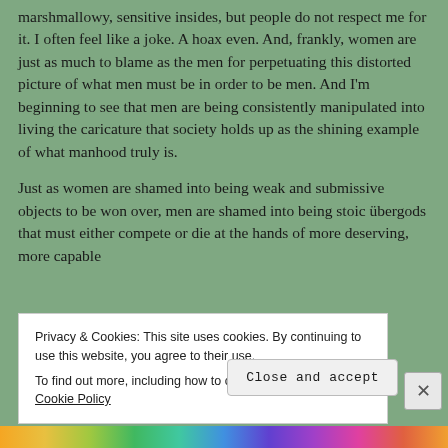marshmallowy, sensitive insides, but people do not respect me for it. I often feel like a joke. A hoax even. And, frankly, women are just as much to blame as the men for perpetuating this distorted picture of what men must be in order to be men. And I'm beginning to see that men are being consistently manipulated into living the caricature that society holds up as the shining example of what manhood truly is.
Just as women are shamed into being weak and submissive objects to be won over, men are shamed into being stoic übergods that must either compete or die at the hands of more deserving, more capable
Privacy & Cookies: This site uses cookies. By continuing to use this website, you agree to their use.
To find out more, including how to control cookies, see here: Cookie Policy
Close and accept